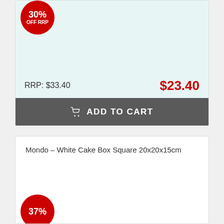30% OFF RRP
RRP: $33.40
$23.40
ADD TO CART
Mondo – White Cake Box Square 20x20x15cm
37%